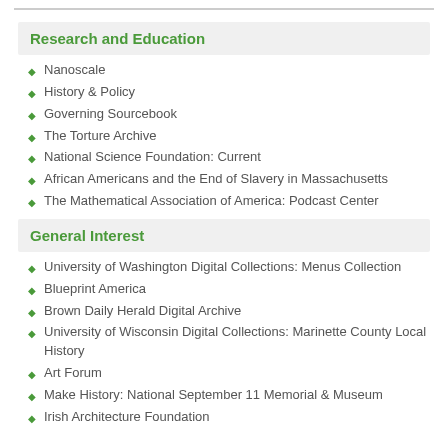Research and Education
Nanoscale
History & Policy
Governing Sourcebook
The Torture Archive
National Science Foundation: Current
African Americans and the End of Slavery in Massachusetts
The Mathematical Association of America: Podcast Center
General Interest
University of Washington Digital Collections: Menus Collection
Blueprint America
Brown Daily Herald Digital Archive
University of Wisconsin Digital Collections: Marinette County Local History
Art Forum
Make History: National September 11 Memorial & Museum
Irish Architecture Foundation